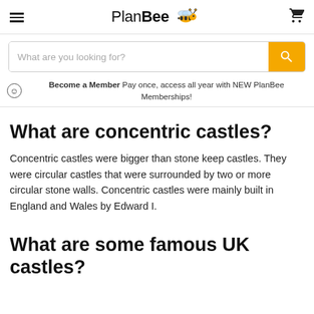PlanBee
What are you looking for?
Become a Member Pay once, access all year with NEW PlanBee Memberships!
What are concentric castles?
Concentric castles were bigger than stone keep castles. They were circular castles that were surrounded by two or more circular stone walls. Concentric castles were mainly built in England and Wales by Edward I.
What are some famous UK castles?